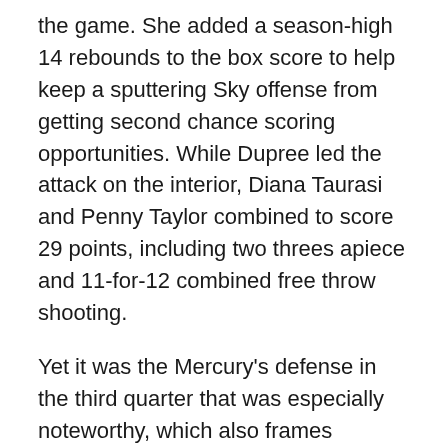the game. She added a season-high 14 rebounds to the box score to help keep a sputtering Sky offense from getting second chance scoring opportunities. While Dupree led the attack on the interior, Diana Taurasi and Penny Taylor combined to score 29 points, including two threes apiece and 11-for-12 combined free throw shooting.
Yet it was the Mercury's defense in the third quarter that was especially noteworthy, which also frames Brittney Griner's impact that doesn't quite show up in the box score.
Chicago struggled to get anything going in the paint offensively during the third quarter, shooting just 6-for-18 (33.3%) from the field while star center Sylvia Fowles had just one shot. Unable to drive to the basket